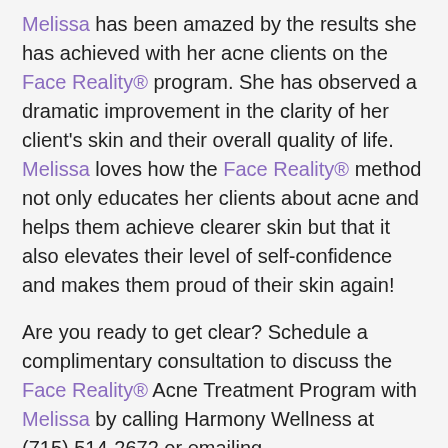Melissa has been amazed by the results she has achieved with her acne clients on the Face Reality® program. She has observed a dramatic improvement in the clarity of her client's skin and their overall quality of life. Melissa loves how the Face Reality® method not only educates her clients about acne and helps them achieve clearer skin but that it also elevates their level of self-confidence and makes them proud of their skin again!
Are you ready to get clear? Schedule a complimentary consultation to discuss the Face Reality® Acne Treatment Program with Melissa by calling Harmony Wellness at (715) 514-2672 or emailing info@harmonywellnessec.com!